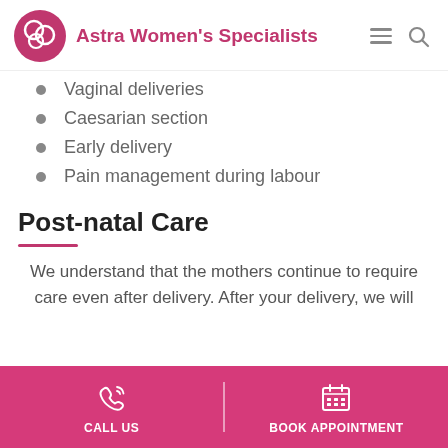Astra Women's Specialists
Vaginal deliveries
Caesarian section
Early delivery
Pain management during labour
Post-natal Care
We understand that the mothers continue to require care even after delivery. After your delivery, we will
CALL US | BOOK APPOINTMENT